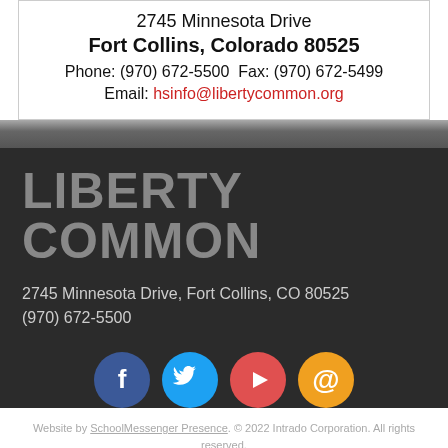2745 Minnesota Drive
Fort Collins, Colorado 80525
Phone: (970) 672-5500  Fax: (970) 672-5499
Email: hsinfo@libertycommon.org
LIBERTY COMMON
2745 Minnesota Drive, Fort Collins, CO 80525
(970) 672-5500
[Figure (infographic): Four circular social media icons in a row: Facebook (blue), Twitter (light blue), YouTube (red), Email (orange)]
Website by SchoolMessenger Presence. © 2022 Intrado Corporation. All rights reserved.